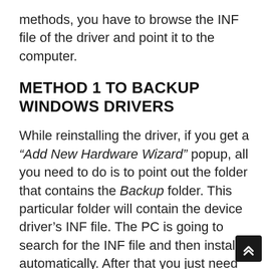methods, you have to browse the INF file of the driver and point it to the computer.
METHOD 1 TO BACKUP WINDOWS DRIVERS
While reinstalling the driver, if you get a “Add New Hardware Wizard” popup, all you need to do is to point out the folder that contains the Backup folder. This particular folder will contain the device driver’s INF file. The PC is going to search for the INF file and then install it automatically. After that you just need to reboot your PC and the drivers will be installed.